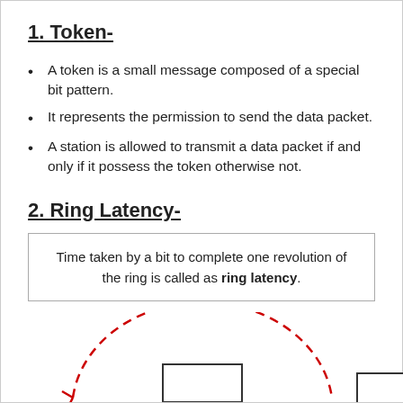1. Token-
A token is a small message composed of a special bit pattern.
It represents the permission to send the data packet.
A station is allowed to transmit a data packet if and only if it possess the token otherwise not.
2. Ring Latency-
Time taken by a bit to complete one revolution of the ring is called as ring latency.
[Figure (illustration): Partial diagram showing a ring network with dashed red circular arc and a rectangular box (node) at the bottom center, with another partial node visible at the bottom right.]